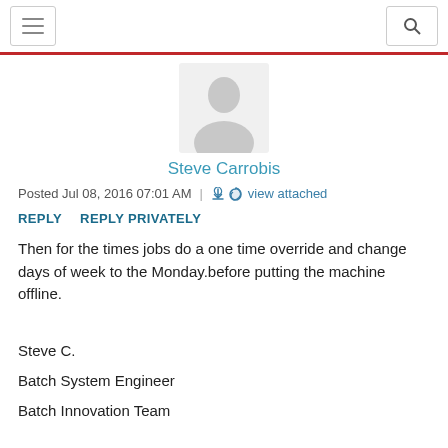Navigation header with hamburger menu and search icon
[Figure (illustration): Generic user avatar silhouette, grey, person facing forward]
Steve Carrobis
Posted Jul 08, 2016 07:01 AM  |  view attached
REPLY   REPLY PRIVATELY
Then for the times jobs do a one time override and change days of week to the Monday.before putting the machine offline.
Steve C.
Batch System Engineer
Batch Innovation Team